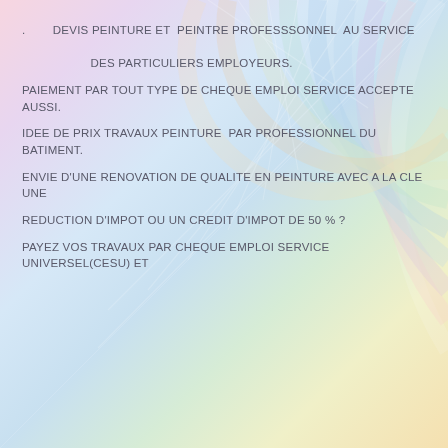.        DEVIS PEINTURE ET  PEINTRE PROFESSSONNEL  AU SERVICE

                    DES PARTICULIERS EMPLOYEURS.
PAIEMENT PAR TOUT TYPE DE CHEQUE EMPLOI SERVICE ACCEPTE AUSSI.
IDEE DE PRIX TRAVAUX PEINTURE  PAR PROFESSIONNEL DU BATIMENT.
ENVIE D'UNE RENOVATION DE QUALITE EN PEINTURE AVEC A LA CLE UNE
REDUCTION D'IMPOT OU UN CREDIT D'IMPOT DE 50 % ?
PAYEZ VOS TRAVAUX PAR CHEQUE EMPLOI SERVICE UNIVERSEL(CESU) ET